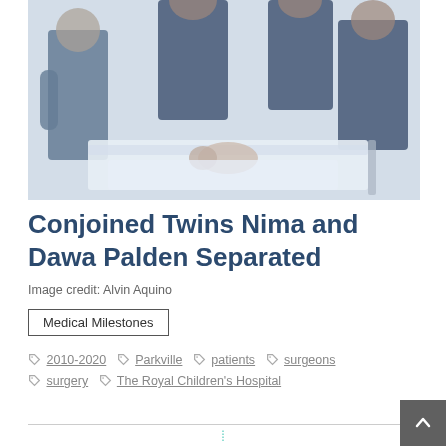[Figure (photo): Medical photo showing surgeons in blue scrubs around a patient lying on a hospital bed/gurney in a clinical setting]
Conjoined Twins Nima and Dawa Palden Separated
Image credit: Alvin Aquino
Medical Milestones
2010-2020  Parkville  patients  surgeons  surgery  The Royal Children's Hospital